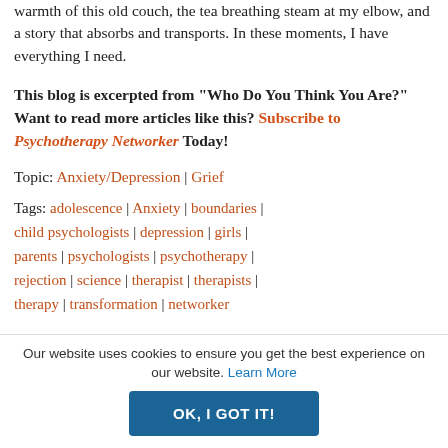warmth of this old couch, the tea breathing steam at my elbow, and a story that absorbs and transports. In these moments, I have everything I need.
This blog is excerpted from "Who Do You Think You Are?" Want to read more articles like this? Subscribe to Psychotherapy Networker Today!
Topic: Anxiety/Depression | Grief
Tags: adolescence | Anxiety | boundaries | child psychologists | depression | girls | parents | psychologists | psychotherapy | rejection | science | therapist | therapists | therapy | transformation | networker
Our website uses cookies to ensure you get the best experience on our website. Learn More
OK, I GOT IT!